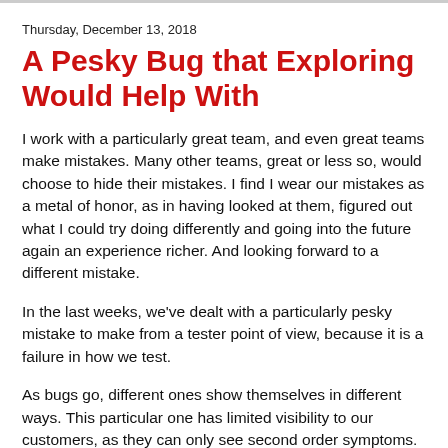Thursday, December 13, 2018
A Pesky Bug that Exploring Would Help With
I work with a particularly great team, and even great teams make mistakes. Many other teams, great or less so, would choose to hide their mistakes. I find I wear our mistakes as a metal of honor, as in having looked at them, figured out what I could try doing differently and going into the future again an experience richer. And looking forward to a different mistake.
In the last weeks, we've dealt with a particularly pesky mistake to make from a tester point of view, because it is a failure in how we test.
As bugs go, different ones show themselves in different ways. This particular one has limited visibility to our customers, as they can only see second order symptoms. But the cost of it has been high - blocking work of multiple other teams, diverting them from their intended use to create